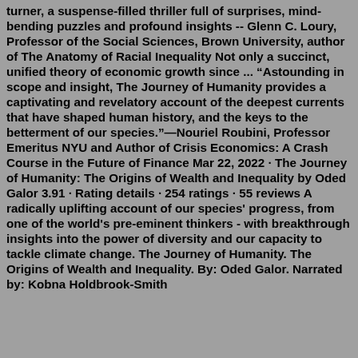turner, a suspense-filled thriller full of surprises, mind-bending puzzles and profound insights -- Glenn C. Loury, Professor of the Social Sciences, Brown University, author of The Anatomy of Racial Inequality Not only a succinct, unified theory of economic growth since ... “Astounding in scope and insight, The Journey of Humanity provides a captivating and revelatory account of the deepest currents that have shaped human history, and the keys to the betterment of our species.”—Nouriel Roubini, Professor Emeritus NYU and Author of Crisis Economics: A Crash Course in the Future of Finance Mar 22, 2022 · The Journey of Humanity: The Origins of Wealth and Inequality by Oded Galor 3.91 · Rating details · 254 ratings · 55 reviews A radically uplifting account of our species' progress, from one of the world's pre-eminent thinkers - with breakthrough insights into the power of diversity and our capacity to tackle climate change. The Journey of Humanity. The Origins of Wealth and Inequality. By: Oded Galor. Narrated by: Kobna Holdbrook-Smith